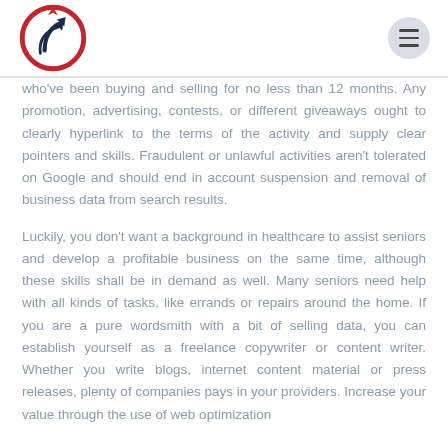[Logo] [Navigation menu icon]
who've been buying and selling for no less than 12 months. Any promotion, advertising, contests, or different giveaways ought to clearly hyperlink to the terms of the activity and supply clear pointers and skills. Fraudulent or unlawful activities aren't tolerated on Google and should end in account suspension and removal of business data from search results.
Luckily, you don't want a background in healthcare to assist seniors and develop a profitable business on the same time, although these skills shall be in demand as well. Many seniors need help with all kinds of tasks, like errands or repairs around the home. If you are a pure wordsmith with a bit of selling data, you can establish yourself as a freelance copywriter or content writer. Whether you write blogs, internet content material or press releases, plenty of companies pays in your providers. Increase your value through the use of web optimization